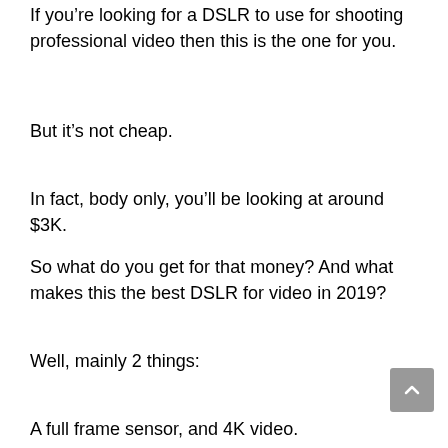If you're looking for a DSLR to use for shooting professional video then this is the one for you.
But it's not cheap.
In fact, body only, you'll be looking at around $3K.
So what do you get for that money? And what makes this the best DSLR for video in 2019?
Well, mainly 2 things:
A full frame sensor, and 4K video.